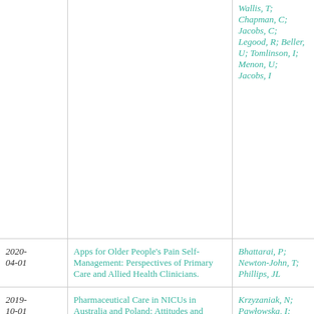| Date | Title | Authors |
| --- | --- | --- |
|  | Wallis, T; Chapman, C; Jacobs, C; Legood, R; Beller, U; Tomlinson, I; Menon, U; Jacobs, I |  |
| 2020-04-01 | Apps for Older People's Pain Self-Management: Perspectives of Primary Care and Allied Health Clinicians. | Bhattarai, P; Newton-John, T; Phillips, JL |
| 2019-10-01 | Pharmaceutical Care in NICUs in Australia and Poland: Attitudes and Perspectives of Doctors and Nurses | Krzyzaniak, N; Pawłowska, I; Bajorek, B |
| 2019-10 | Family communication following a diagnosis of myotonic dystrophy: To tell or not to tell? | Taylor, S; Rodrigues, M; Poke, G; Wake, S; McEwen, A |
| 2019 | Advanced cancer patient... | Post, M; Putow... |